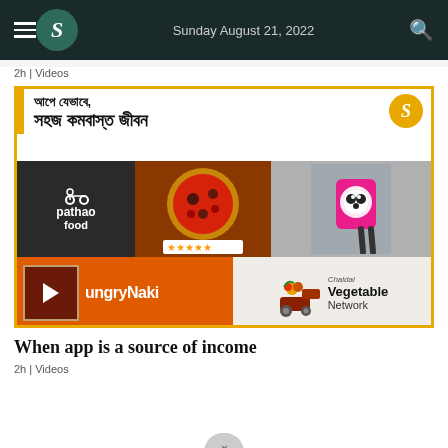Sunday August 21, 2022
2h | Videos
[Figure (screenshot): Video thumbnail showing Bengali text overlay reading 'আপে যেভাবে সহজ কমবাস্ত জীবন' with food delivery app logos: Pathao Food, a phone screen, Foodpanda, HungryNaki, and Chaldal Vegetable Network. Yellow border frame with 'B' logo in corner.]
When app is a source of income
2h | Videos